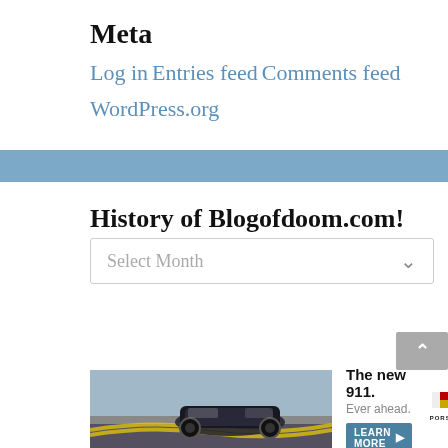Meta
Log in
Entries feed
Comments feed
WordPress.org
History of Blogofdoom.com!
[Figure (other): Dropdown select box labeled 'Select Month' with a chevron arrow]
[Figure (photo): Advertisement for Porsche new 911 showing a car on a road with text 'The new 911. Ever ahead.' and a LEARN MORE button and Porsche logo]